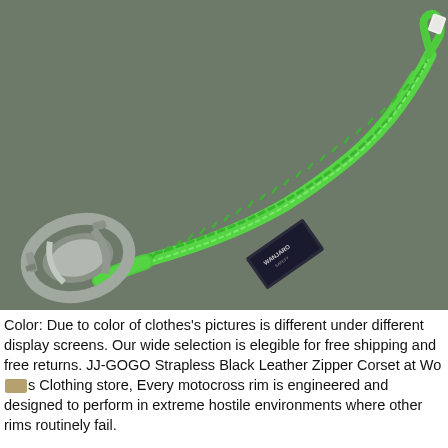[Figure (photo): Product photo of a green elastic bungee lanyard with a large aluminum carabiner/snap hook on one end and a loop on the other end, with a black branded label tag. Background is muted olive-gray.]
Color: Due to color of clothes's pictures is different under different display screens. Our wide selection is elegible for free shipping and free returns. JJ-GOGO Strapless Black Leather Zipper Corset at Wo s Clothing store, Every motocross rim is engineered and designed to perform in extreme hostile environments where other rims routinely fail.